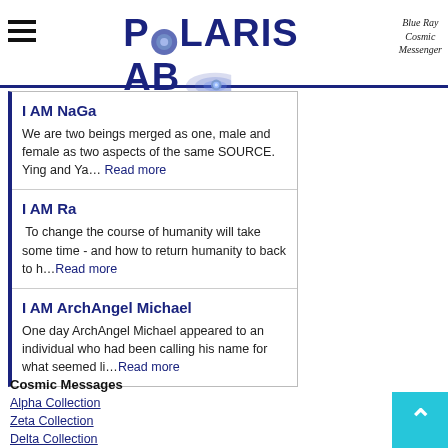POLARIS AB | Blue Ray Cosmic Messenger
I AM NaGa
We are two beings merged as one, male and female as two aspects of the same SOURCE. Ying and Ya… Read more
I AM Ra
To change the course of humanity will take some time - and how to return humanity to back to h…Read more
I AM ArchAngel Michael
One day ArchAngel Michael appeared to an individual who had been calling his name for what seemed li…Read more
Cosmic Messages
Alpha Collection
Zeta Collection
Delta Collection